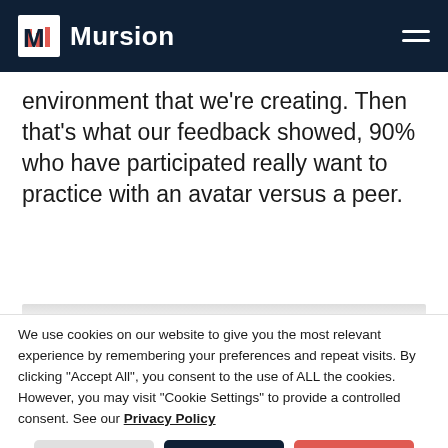Mursion
environment that we're creating. Then that's what our feedback showed, 90% who have participated really want to practice with an avatar versus a peer.
We use cookies on our website to give you the most relevant experience by remembering your preferences and repeat visits. By clicking "Accept All", you consent to the use of ALL the cookies. However, you may visit "Cookie Settings" to provide a controlled consent. See our Privacy Policy